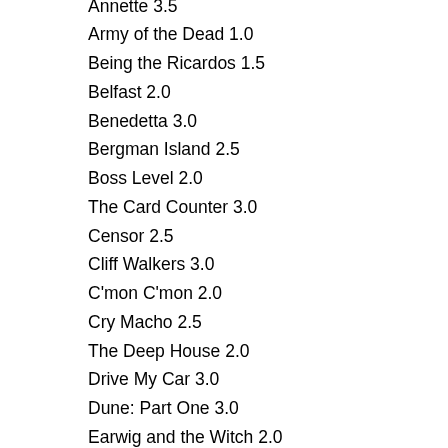Annette 3.5
Army of the Dead 1.0
Being the Ricardos 1.5
Belfast 2.0
Benedetta 3.0
Bergman Island 2.5
Boss Level 2.0
The Card Counter 3.0
Censor 2.5
Cliff Walkers 3.0
C'mon C'mon 2.0
Cry Macho 2.5
The Deep House 2.0
Drive My Car 3.0
Dune: Part One 3.0
Earwig and the Witch 2.0
The Empty Man 3.0
Enemies of the State 3.0